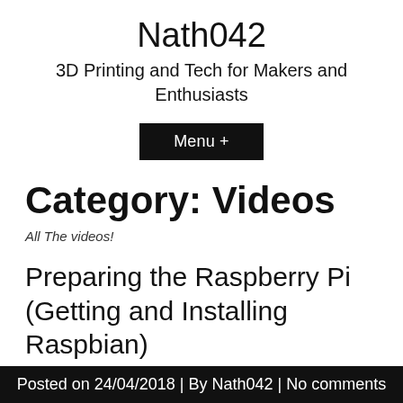Nath042
3D Printing and Tech for Makers and Enthusiasts
Menu +
Category: Videos
All The videos!
Preparing the Raspberry Pi (Getting and Installing Raspbian)
Posted on 24/04/2018 | By Nath042 | No comments